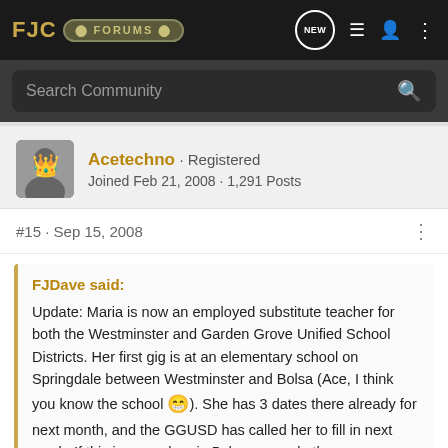FJC FORUMS
Search Community
Acetechno · Registered
Joined Feb 21, 2008 · 1,291 Posts
#15 · Sep 15, 2008
FJDave said:
Update: Maria is now an employed substitute teacher for both the Westminster and Garden Grove Unified School Districts. Her first gig is at an elementary school on Springdale between Westminster and Bolsa (Ace, I think you know the school 😁). She has 3 dates there already for next month, and the GGUSD has called her to fill in next week. If this is a regular gig 5 days a week, then we are on our way to more mods!!!! WOO HOO!!!! 😁